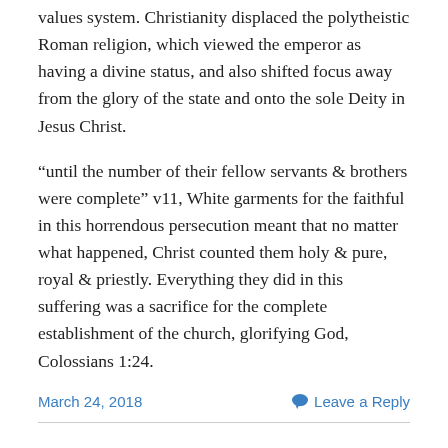values system. Christianity displaced the polytheistic Roman religion, which viewed the emperor as having a divine status, and also shifted focus away from the glory of the state and onto the sole Deity in Jesus Christ.
“until the number of their fellow servants & brothers were complete” v11, White garments for the faithful in this horrendous persecution meant that no matter what happened, Christ counted them holy & pure, royal & priestly. Everything they did in this suffering was a sacrifice for the complete establishment of the church, glorifying God, Colossians 1:24.
March 24, 2018
Leave a Reply
Revelation 5